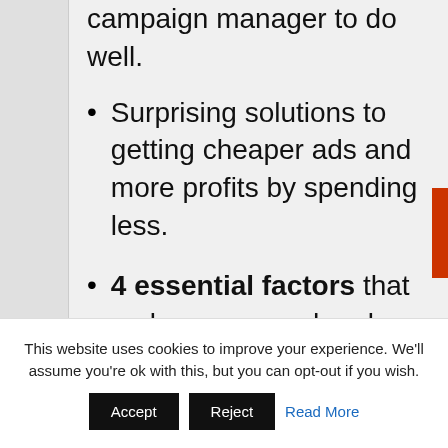campaign manager to do well.
Surprising solutions to getting cheaper ads and more profits by spending less.
4 essential factors that make up your ad rank score. Vital for your
This website uses cookies to improve your experience. We'll assume you're ok with this, but you can opt-out if you wish.
Accept  Reject  Read More